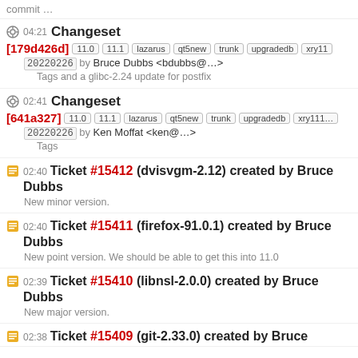commit …
04:21 Changeset [179d426d] 11.0 11.1 lazarus qt5new trunk upgradedb xry11… 20220226 by Bruce Dubbs <bdubbs@…> Tags and a glibc-2.24 update for postfix
02:41 Changeset [641a327] 11.0 11.1 lazarus qt5new trunk upgradedb xry111… 20220226 by Ken Moffat <ken@…> Tags
02:40 Ticket #15412 (dvisvgm-2.12) created by Bruce Dubbs New minor version.
02:40 Ticket #15411 (firefox-91.0.1) created by Bruce Dubbs New point version. We should be able to get this into 11.0
02:39 Ticket #15410 (libnsl-2.0.0) created by Bruce Dubbs New major version.
02:38 Ticket #15409 (git-2.33.0) created by Bruce